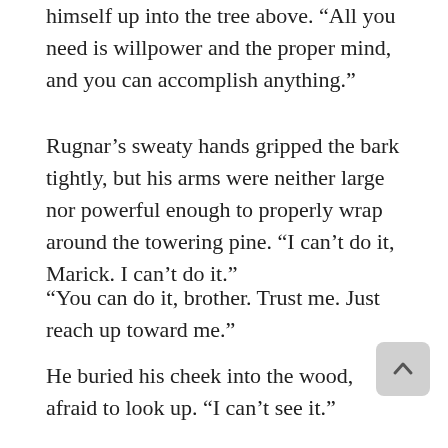himself up into the tree above.  “All you need is willpower and the proper mind, and you can accomplish anything.”
Rugnar’s sweaty hands gripped the bark tightly, but his arms were neither large nor powerful enough to properly wrap around the towering pine.  “I can’t do it, Marick.  I can’t do it.”
“You can do it, brother.  Trust me.  Just reach up toward me.”
He buried his cheek into the wood, afraid to look up.  “I can’t see it.”
“Come now.  Just give me your hand.”
The younger did as commanded and let go with one